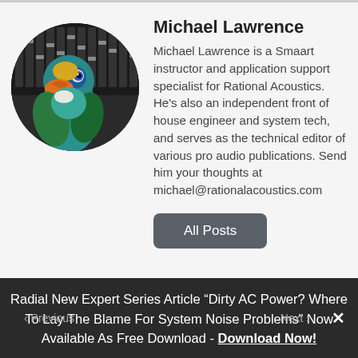[Figure (photo): Circular avatar photo of a colorful parrot (green, teal, yellow, orange beak) in front of an audio mixing console with faders and buttons]
Michael Lawrence
Michael Lawrence is a Smaart instructor and application support specialist for Rational Acoustics. He's also an independent front of house engineer and system tech, and serves as the technical editor of various pro audio publications. Send him your thoughts at michael@rationalacoustics.com
All Posts
Radial New Expert Series Article “Dirty AC Power? Where To Lay The Blame For System Noise Problems” Now Available As Free Download - Download Now!